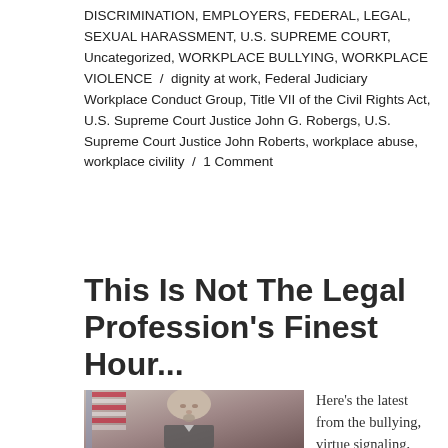DISCRIMINATION, EMPLOYERS, FEDERAL, LEGAL, SEXUAL HARASSMENT, U.S. SUPREME COURT, Uncategorized, WORKPLACE BULLYING, WORKPLACE VIOLENCE / dignity at work, Federal Judiciary Workplace Conduct Group, Title VII of the Civil Rights Act, U.S. Supreme Court Justice John G. Robergs, U.S. Supreme Court Justice John Roberts, workplace abuse, workplace civility / 1 Comment
This Is Not The Legal Profession's Finest Hour...
[Figure (photo): Portrait photo of an elderly bald man with a goatee, in front of an American flag]
Here's the latest from the bullying, virtue signaling, mostly Democratic,